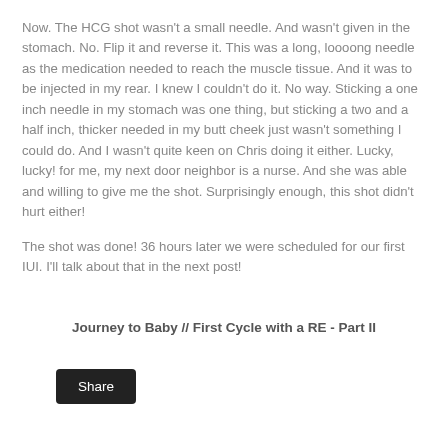Now. The HCG shot wasn't a small needle. And wasn't given in the stomach. No. Flip it and reverse it. This was a long, loooong needle as the medication needed to reach the muscle tissue. And it was to be injected in my rear. I knew I couldn't do it. No way. Sticking a one inch needle in my stomach was one thing, but sticking a two and a half inch, thicker needed in my butt cheek just wasn't something I could do. And I wasn't quite keen on Chris doing it either. Lucky, lucky! for me, my next door neighbor is a nurse. And she was able and willing to give me the shot. Surprisingly enough, this shot didn't hurt either!
The shot was done! 36 hours later we were scheduled for our first IUI. I'll talk about that in the next post!
Journey to Baby // First Cycle with a RE - Part II
Share